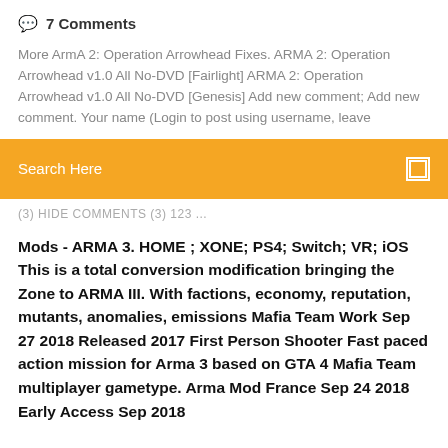💬 7 Comments
More ArmA 2: Operation Arrowhead Fixes. ARMA 2: Operation Arrowhead v1.0 All No-DVD [Fairlight] ARMA 2: Operation Arrowhead v1.0 All No-DVD [Genesis] Add new comment; Add new comment. Your name (Login to post using username, leave
Search Here
(3) HIDE COMMENTS (3) 123 ...
Mods - ARMA 3. HOME ; XONE; PS4; Switch; VR; iOS This is a total conversion modification bringing the Zone to ARMA III. With factions, economy, reputation, mutants, anomalies, emissions Mafia Team Work Sep 27 2018 Released 2017 First Person Shooter Fast paced action mission for Arma 3 based on GTA 4 Mafia Team multiplayer gametype. Arma Mod France Sep 24 2018 Early Access Sep 2018
Télécharger ARMA III Crack gratuitement [Crack] Télécharger